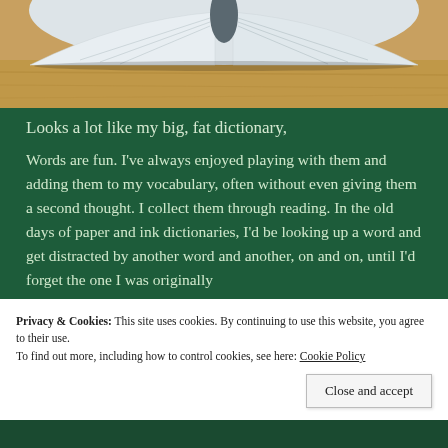[Figure (photo): Open book viewed from above, showing pages fanned open on a wooden surface]
Looks a lot like my big, fat dictionary,
Words are fun. I've always enjoyed playing with them and adding them to my vocabulary, often without even giving them a second thought. I collect them through reading. In the old days of paper and ink dictionaries, I'd be looking up a word and get distracted by another word and another, on and on, until I'd forget the one I was originally
Privacy & Cookies: This site uses cookies. By continuing to use this website, you agree to their use.
To find out more, including how to control cookies, see here: Cookie Policy
Close and accept